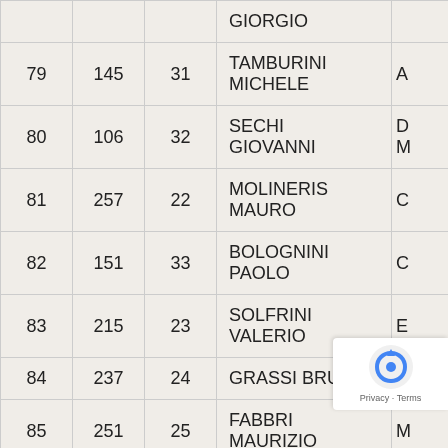| #1 | #2 | #3 | Name | Col5 |
| --- | --- | --- | --- | --- |
|  |  |  | GIORGIO |  |
| 79 | 145 | 31 | TAMBURINI MICHELE | A |
| 80 | 106 | 32 | SECHI GIOVANNI | D M |
| 81 | 257 | 22 | MOLINERIS MAURO | C |
| 82 | 151 | 33 | BOLOGNINI PAOLO | C |
| 83 | 215 | 23 | SOLFRINI VALERIO | E |
| 84 | 237 | 24 | GRASSI BRUNO | A |
| 85 | 251 | 25 | FABBRI MAURIZIO | M |
| 86 | 119 | 34 | GUERRA MAURIZIO |  |